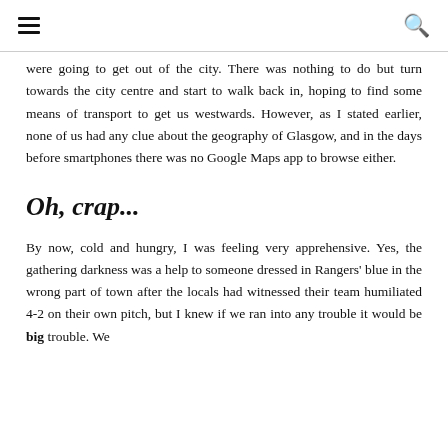☰ [menu icon] | [search icon]
were going to get out of the city. There was nothing to do but turn towards the city centre and start to walk back in, hoping to find some means of transport to get us westwards. However, as I stated earlier, none of us had any clue about the geography of Glasgow, and in the days before smartphones there was no Google Maps app to browse either.
Oh, crap...
By now, cold and hungry, I was feeling very apprehensive. Yes, the gathering darkness was a help to someone dressed in Rangers' blue in the wrong part of town after the locals had witnessed their team humiliated 4-2 on their own pitch, but I knew if we ran into any trouble it would be big trouble. We